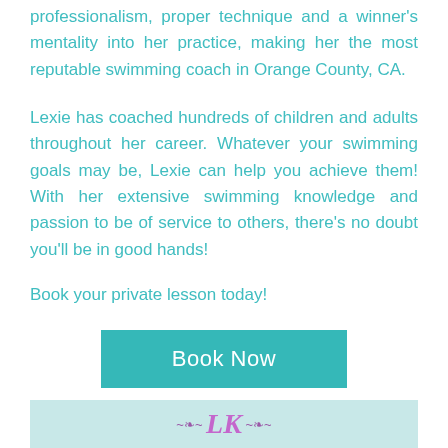professionalism, proper technique and a winner's mentality into her practice, making her the most reputable swimming coach in Orange County, CA.
Lexie has coached hundreds of children and adults throughout her career. Whatever your swimming goals may be, Lexie can help you achieve them! With her extensive swimming knowledge and passion to be of service to others, there's no doubt you'll be in good hands!
Book your private lesson today!
[Figure (other): A teal/turquoise rectangular button with white text reading 'Book Now']
LK (logo with decorative swirls)